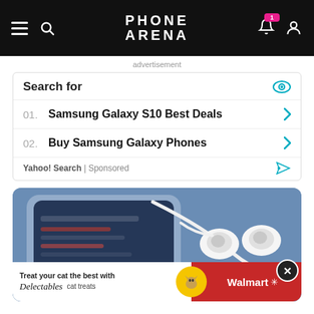PHONE ARENA
advertisement
Search for
01. Samsung Galaxy S10 Best Deals
02. Buy Samsung Galaxy Phones
Yahoo! Search | Sponsored
[Figure (photo): Samsung smartphone with white earphones placed on top of a dark blue interface screen]
[Figure (infographic): Walmart ad banner: Treat your cat the best with Delectables cat treats, Walmart logo on red background with close button]